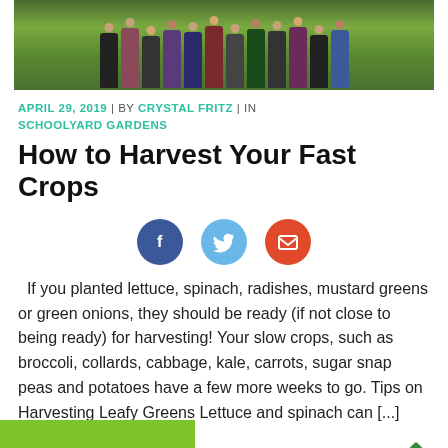[Figure (photo): Group of children standing on grass, seen from waist down, wearing colorful clothing]
APRIL 29, 2019 | BY CRYSTAL FRITZ | IN SCHOOLYARD GARDENS
How to Harvest Your Fast Crops
[Figure (infographic): Three social media sharing buttons: Facebook (dark blue circle with f), Twitter (light blue circle with bird), Email (red circle with envelope)]
If you planted lettuce, spinach, radishes, mustard greens or green onions, they should be ready (if not close to being ready) for harvesting! Your slow crops, such as broccoli, collards, cabbage, kale, carrots, sugar snap peas and potatoes have a few more weeks to go. Tips on Harvesting Leafy Greens Lettuce and spinach can [...]